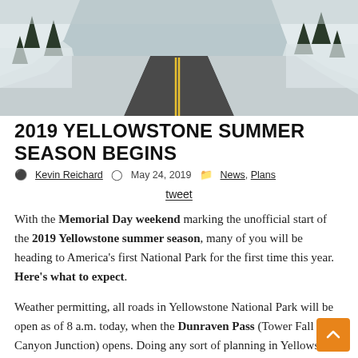[Figure (photo): A two-lane road cutting through deep snow banks, winding into a forested mountain landscape in winter conditions.]
2019 YELLOWSTONE SUMMER SEASON BEGINS
Kevin Reichard  May 24, 2019  News, Plans
tweet
With the Memorial Day weekend marking the unofficial start of the 2019 Yellowstone summer season, many of you will be heading to America's first National Park for the first time this year. Here's what to expect.
Weather permitting, all roads in Yellowstone National Park will be open as of 8 a.m. today, when the Dunraven Pass (Tower Fall to Canyon Junction) opens. Doing any sort of planning in Yellowstone always carries a caveat of weather permitting, but in this case, we